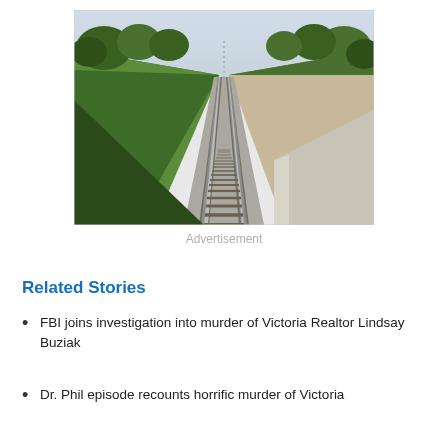[Figure (photo): Aerial perspective view of straight railway tracks stretching to the horizon, flanked by green trees and embankments on both sides, taken from a moving train.]
Advertisement
Related Stories
FBI joins investigation into murder of Victoria Realtor Lindsay Buziak
Dr. Phil episode recounts horrific murder of Victoria